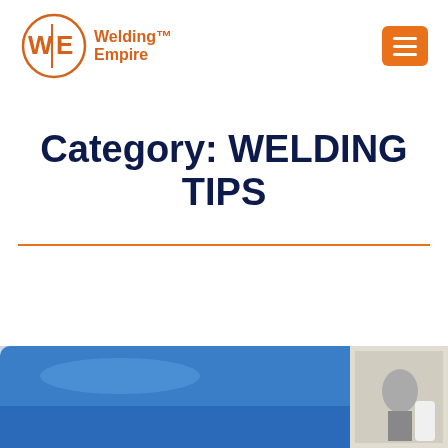[Figure (logo): Welding Empire logo — circular WE monogram in orange with text 'Welding Empire' to the right, and an orange hamburger menu button]
Category: WELDING TIPS
[Figure (photo): Bottom portion of a blue car being worked on in a garage/workshop setting, partially cropped]